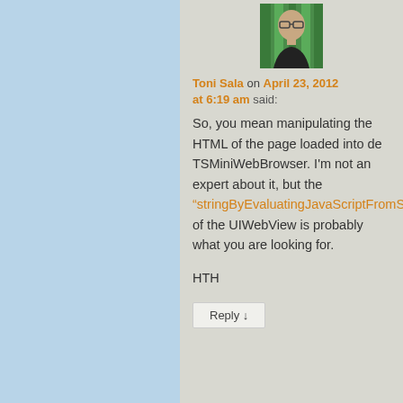[Figure (photo): Avatar photo of Toni Sala, a man with glasses wearing a black shirt in front of a green background]
Toni Sala on April 23, 2012 at 6:19 am said:
So, you mean manipulating the HTML of the page loaded into de TSMiniWebBrowser. I'm not an expert about it, but the “stringByEvaluatingJavaScriptFromString of the UIWebView is probably what you are looking for.

HTH
Reply ↓